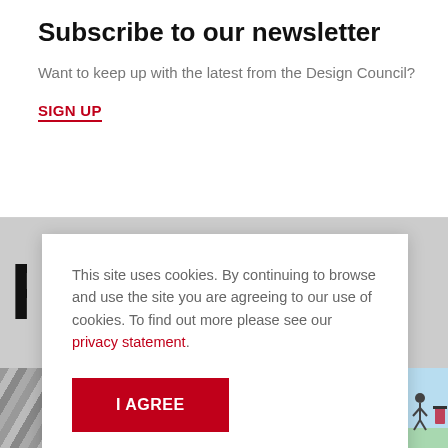Subscribe to our newsletter
Want to keep up with the latest from the Design Council?
SIGN UP
This site uses cookies. By continuing to browse and use the site you are agreeing to our use of cookies. To find out more please see our privacy statement.
I AGREE